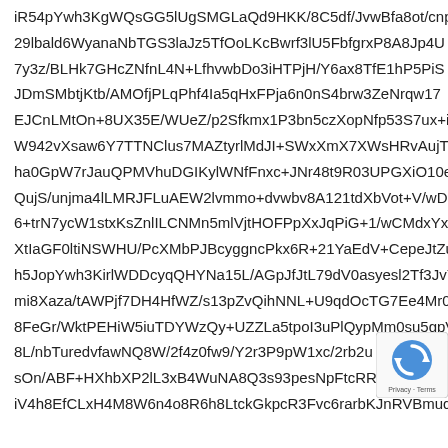iR54pYwh3KgWQsGG5lUgSMGLaQd9HKK/8C5df/JvwBfa8ot/cnp 29lbald6WyanaNbTGS3laJz5TfOoLKcBwrf3lU5FbfgrxP8A8Jp4U 7y3z/BLHk7GHcZNfnL4N+LfhvwbDo3iHTPjH/Y6ax8TfE1hP5PiS JDmSMbtjKtb/AMOfjPLqPhf4Ia5qHxFPja6n0nS4brw3ZeNrqw17 EJCnLMtOn+8UX35E/WUeZ/p2Sfkmx1P3bn5czXopNfp53S7ux+i W942vXsaw6Y7TTNClus7MAZtyrlMdJI+SWxXmX7XWsHRvAujTHx ha0GpW7rJauQPMVhuDGIKylWNfFnxc+JNr48t9R03UPGXiO10e3 QujS/unjma4lLMRJFLuAEW2lvmmo+dvwbv8A121tdXbVot+V/wD 6+trN7ycW1stxKsZnlILCNMn5mlVjtHOFPpXxJqPiG+1/wCMdxYx XtIaGF0ltiNSWHU/PcXMbPJBcyggncPkx6R+21YaEdV+CepeJtZu5 h5JopYwh3KirlWDDcyqQHYNa15L/AGpJfJtL79dV0asyesl2Tf3Jv7 mi8Xaza/tAWPjf7DH4HfWZ/s13pZvQihNNL+U9qdOcTG7Ee4Mr0 8FeGr/WktPEHiW5iuTDYWzQy+UZZLa5tpoI3uPlQypMm0su5gpV 8L/nbTuredvfawNQ8W/2f4z0fw9/Y2r3P9pW1xc/2rb2u sOn/ABF+HXhbXP2lL3xB4WuNA8Q3s93pesNpFtcRRv iV4h8EfCLxH4M8W6n4o8R6h8LtckGkpcR3Fvc6rarbKJnRVBmud
[Figure (other): reCAPTCHA badge with circular arrow icon and Privacy/Terms text]